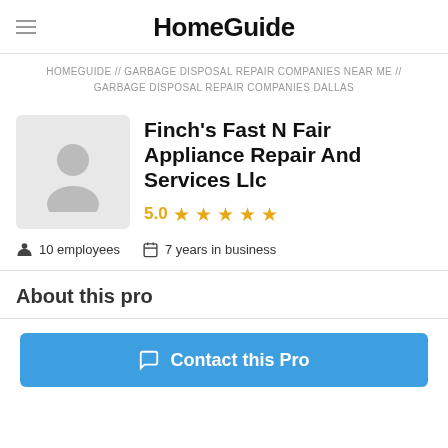HomeGuide
HOMEGUIDE // GARBAGE DISPOSAL REPAIR COMPANIES NEAR ME // GARBAGE DISPOSAL REPAIR COMPANIES DALLAS
Finch's Fast N Fair Appliance Repair And Services Llc
5.0 ★★★★★
10 employees   7 years in business
About this pro
Contact this Pro